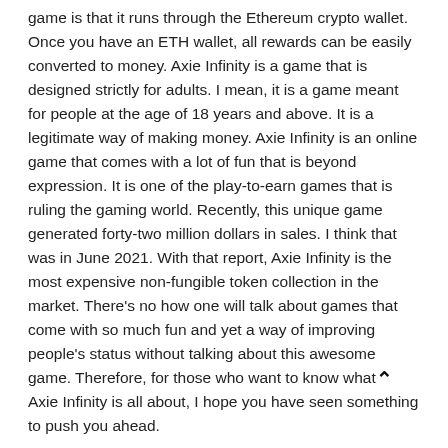game is that it runs through the Ethereum crypto wallet. Once you have an ETH wallet, all rewards can be easily converted to money. Axie Infinity is a game that is designed strictly for adults. I mean, it is a game meant for people at the age of 18 years and above. It is a legitimate way of making money. Axie Infinity is an online game that comes with a lot of fun that is beyond expression. It is one of the play-to-earn games that is ruling the gaming world. Recently, this unique game generated forty-two million dollars in sales. I think that was in June 2021. With that report, Axie Infinity is the most expensive non-fungible token collection in the market. There’s no how one will talk about games that come with so much fun and yet a way of improving people’s status without talking about this awesome game. Therefore, for those who want to know what Axie Infinity is all about, I hope you have seen something to push you ahead.